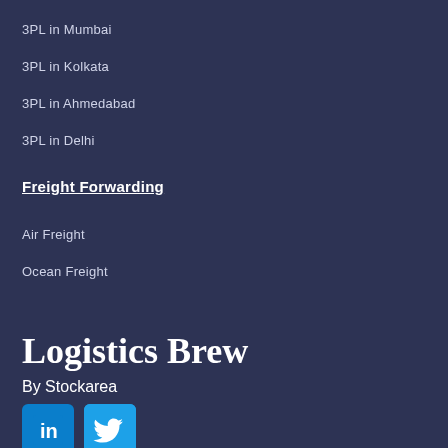3PL in Mumbai
3PL in Kolkata
3PL in Ahmedabad
3PL in Delhi
Freight Forwarding
Air Freight
Ocean Freight
Logistics Brew
By Stockarea
[Figure (logo): LinkedIn icon button (blue square with 'in' logo)]
[Figure (logo): Twitter icon button (light blue square with bird logo)]